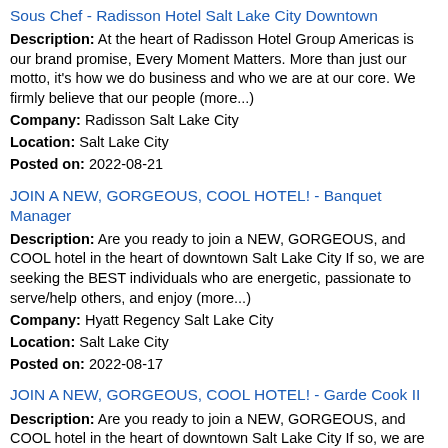Sous Chef - Radisson Hotel Salt Lake City Downtown
Description: At the heart of Radisson Hotel Group Americas is our brand promise, Every Moment Matters. More than just our motto, it's how we do business and who we are at our core. We firmly believe that our people (more...)
Company: Radisson Salt Lake City
Location: Salt Lake City
Posted on: 2022-08-21
JOIN A NEW, GORGEOUS, COOL HOTEL! - Banquet Manager
Description: Are you ready to join a NEW, GORGEOUS, and COOL hotel in the heart of downtown Salt Lake City If so, we are seeking the BEST individuals who are energetic, passionate to serve/help others, and enjoy (more...)
Company: Hyatt Regency Salt Lake City
Location: Salt Lake City
Posted on: 2022-08-17
JOIN A NEW, GORGEOUS, COOL HOTEL! - Garde Cook II
Description: Are you ready to join a NEW, GORGEOUS, and COOL hotel in the heart of downtown Salt Lake City If so, we are seeking the BEST individuals who are energetic, passionate to serve/help others, and enjoy (more...)
Company: Hyatt Hotels Corp.
Location: Salt Lake City